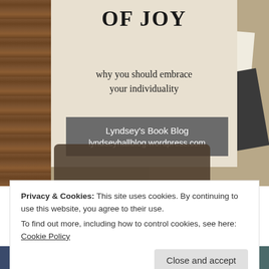[Figure (photo): Book cover on a wooden desk background with craft/writing items. The cover reads 'OF JOY' in large serif font and 'why you should embrace your individuality' below. A grey badge shows 'Lyndsey's Book Blog' and 'lyndseyhallblog.wordpress.com'.]
Privacy & Cookies: This site uses cookies. By continuing to use this website, you agree to their use.
To find out more, including how to control cookies, see here: Cookie Policy
Close and accept